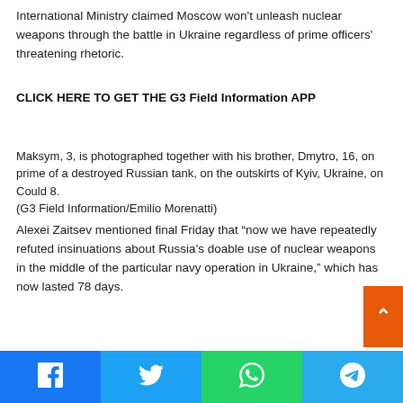International Ministry claimed Moscow won't unleash nuclear weapons through the battle in Ukraine regardless of prime officers' threatening rhetoric.
CLICK HERE TO GET THE G3 Field Information APP
Maksym, 3, is photographed together with his brother, Dmytro, 16, on prime of a destroyed Russian tank, on the outskirts of Kyiv, Ukraine, on Could 8.
(G3 Field Information/Emilio Morenatti)
Alexei Zaitsev mentioned final Friday that “now we have repeatedly refuted insinuations about Russia's doable use of nuclear weapons in the middle of the particular navy operation in Ukraine,” which has now lasted 78 days.
Facebook Twitter WhatsApp Telegram